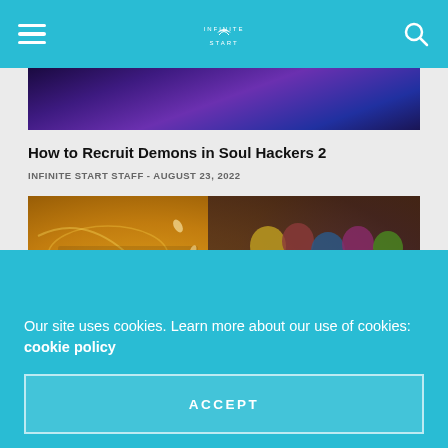Infinite Start - navigation bar with hamburger menu, logo, and search icon
[Figure (screenshot): Partial screenshot of a game image with purple/dark blue background at the top of the article]
How to Recruit Demons in Soul Hackers 2
INFINITE START STAFF - AUGUST 23, 2022
[Figure (screenshot): Disgaea 7 promotional art showing many anime-style chibi characters on a golden/orange background with Japanese text reading 魔界戦記 ディスガイア 7]
Our site uses cookies. Learn more about our use of cookies: cookie policy
ACCEPT